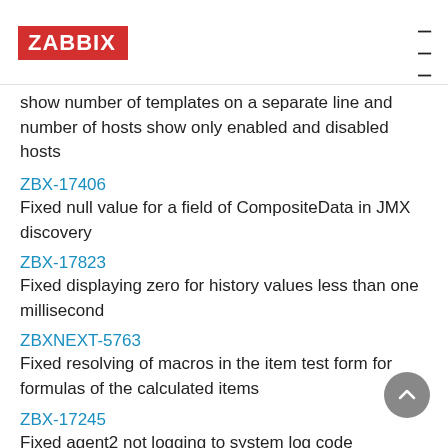ZABBIX
show number of templates on a separate line and number of hosts show only enabled and disabled hosts
ZBX-17406
Fixed null value for a field of CompositeData in JMX discovery
ZBX-17823
Fixed displaying zero for history values less than one millisecond
ZBXNEXT-5763
Fixed resolving of macros in the item test form for formulas of the calculated items
ZBX-17245
Fixed agent2 not logging to system log code